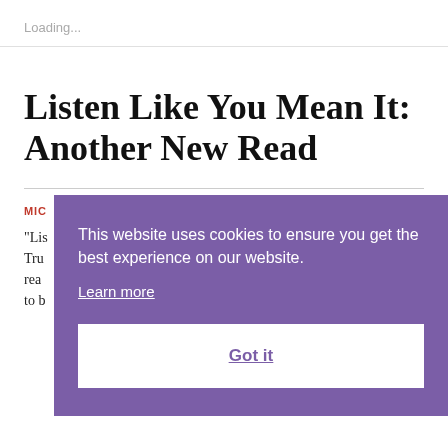Loading...
Listen Like You Mean It: Another New Read
MIC
"Lis Tru rea to b
This website uses cookies to ensure you get the best experience on our website.
Learn more
Got it